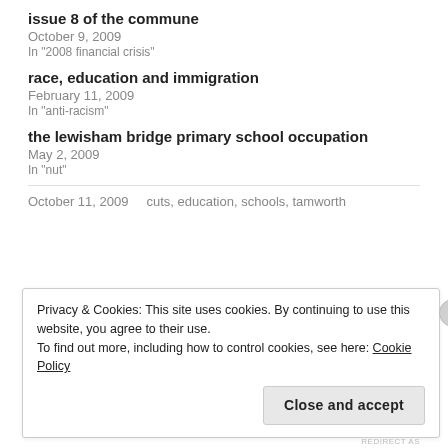issue 8 of the commune
October 9, 2009
In "2008 financial crisis"
race, education and immigration
February 11, 2009
In "anti-racism"
the lewisham bridge primary school occupation
May 2, 2009
In "nut"
October 11, 2009     cuts, education, schools, tamworth
Privacy & Cookies: This site uses cookies. By continuing to use this website, you agree to their use.
To find out more, including how to control cookies, see here: Cookie Policy
Close and accept